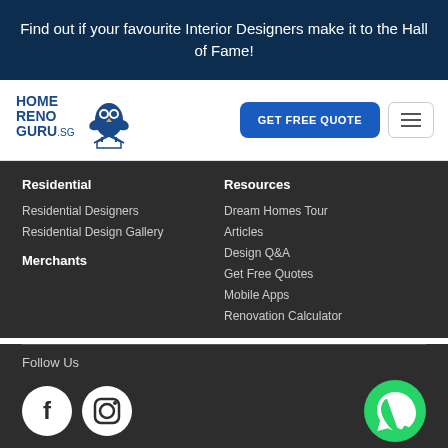Find out if your favourite Interior Designers make it to the Hall of Fame!
[Figure (logo): HomeRenoGuru.sg logo with owl icon]
GET FREE QUOTE
Residential
Residential Designers
Residential Design Gallery
Merchants
Resources
Dream Homes Tour
Articles
Design Q&A
Get Free Quotes
Mobile Apps
Renovation Calculator
Follow Us
[Figure (logo): Facebook icon - white F on dark circle]
[Figure (logo): Instagram icon - camera outline on white circle]
[Figure (logo): WhatsApp icon - green circle with phone]
Download our app